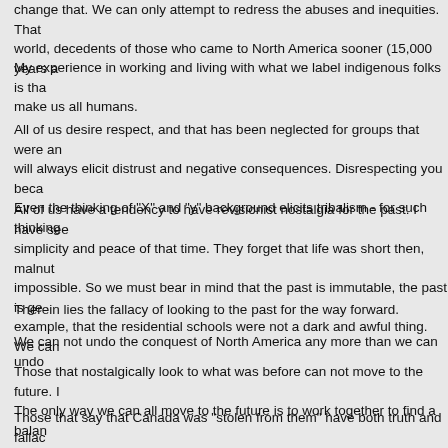change that. We can only attempt to redress the abuses and inequities. That world, decedents of those who came to North America sooner (15,000 years a
My experience in working and living with what we label indigenous folks is tha make us all humans.
All of us desire respect, and that has been neglected for groups that were an will always elicit distrust and negative consequences. Disrespecting you beca Even the thinking of "X" and "y" background elicits tribalism - for such thinking
All of us have a tendency to have revisionist nostalgia for the past. I have see simplicity and peace of that time. They forget that life was short then, malnut impossible. So we must bear in mind that the past is immutable, the past is g example, that the residential schools were not a dark and awful thing. We ca
Therein lies the fallacy of looking to the past for the way forward.
We can not undo the conquest of North America any more than we can undo
Those that nostalgically look to what was before can not move to the future. I The only way we can all move to the future is to work together to find a balan
Those that say that Canada was "stolen from them" have both truth and fallac reality for our Canada did not yet exist. Going forward we can only deal with g